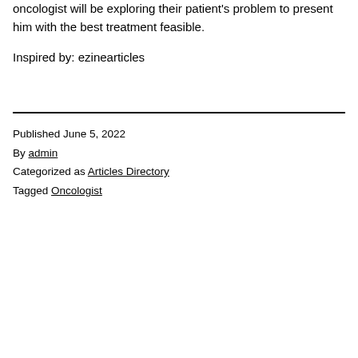oncologist will be exploring their patient's problem to present him with the best treatment feasible.
Inspired by: ezinearticles
Published June 5, 2022
By admin
Categorized as Articles Directory
Tagged Oncologist